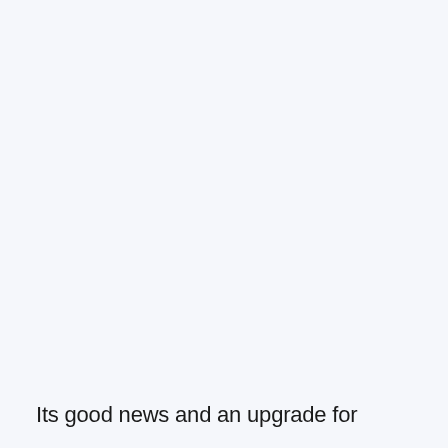Its good news and an upgrade for